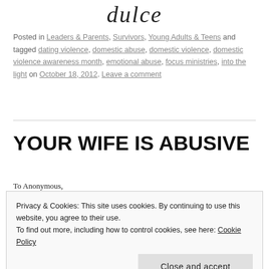dulce
Posted in Leaders & Parents, Survivors, Young Adults & Teens and tagged dating violence, domestic abuse, domestic violence, domestic violence awareness month, emotional abuse, focus ministries, into the light on October 18, 2012. Leave a comment
YOUR WIFE IS ABUSIVE
To Anonymous,
Privacy & Cookies: This site uses cookies. By continuing to use this website, you agree to their use.
To find out more, including how to control cookies, see here: Cookie Policy
Close and accept
I do not know what it is like to be a man living with an abusive wife,